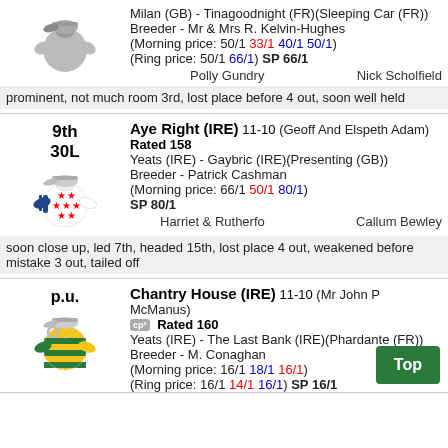Milan (GB) - Tinagoodnight (FR)(Sleeping Car (FR))
Breeder - Mr & Mrs R. Kelvin-Hughes
(Morning price: 50/1 33/1 40/1 50/1)
(Ring price: 50/1 66/1) SP 66/1
Polly Gundry   Nick Scholfield
prominent, not much room 3rd, lost place before 4 out, soon well held
9th 30L
Aye Right (IRE) 11-10 (Geoff And Elspeth Adam)
Rated 158
Yeats (IRE) - Gaybric (IRE)(Presenting (GB))
Breeder - Patrick Cashman
(Morning price: 66/1 50/1 80/1)
SP 80/1
Harriet & Rutherfo   Callum Bewley
soon close up, led 7th, headed 15th, lost place 4 out, weakened before mistake 3 out, tailed off
p.u.
Chantry House (IRE) 11-10 (Mr John P McManus)
cp² Rated 160
Yeats (IRE) - The Last Bank (IRE)(Phardante (FR))
Breeder - M. Conaghan
(Morning price: 16/1 18/1 16/1)
(Ring price: 16/1 14/1 16/1) SP 16/1